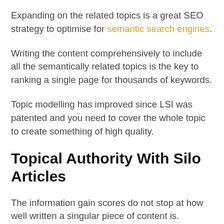Expanding on the related topics is a great SEO strategy to optimise for semantic search engines.
Writing the content comprehensively to include all the semantically related topics is the key to ranking a single page for thousands of keywords.
Topic modelling has improved since LSI was patented and you need to cover the whole topic to create something of high quality.
Topical Authority With Silo Articles
The information gain scores do not stop at how well written a singular piece of content is.
The whole topical clusters within the silo paint the